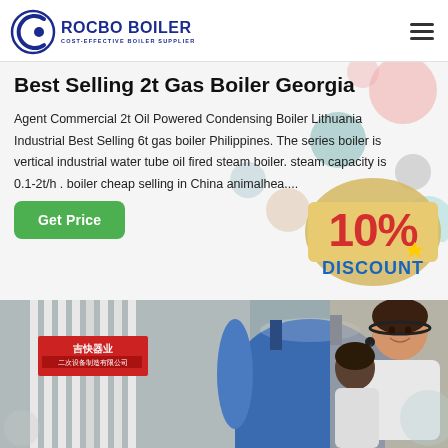[Figure (logo): Rocbo Boiler logo with blue circular emblem and text 'ROCBO BOILER / COST-EFFECTIVE BOILER SUPPLIER']
Best Selling 2t Gas Boiler Georgia
Agent Commercial 2t Oil Powered Condensing Boiler Lithuania Industrial Best Selling 6t gas boiler Philippines. The series boiler is vertical industrial water tube oil fired steam boiler. steam capacity is 0.1-2t/h . boiler cheap selling in China animalhea...
[Figure (infographic): 10% DISCOUNT badge/stamp in red and blue on tan/gold background]
[Figure (photo): Bottom strip photo showing industrial boiler equipment (white corrugated panels with Chinese signage on left, blue cylindrical boiler in center) and a customer service representative woman with headset on the right]
[Figure (illustration): Decorative colored bubbles/circles in pink, teal, gray, tan scattered in background]